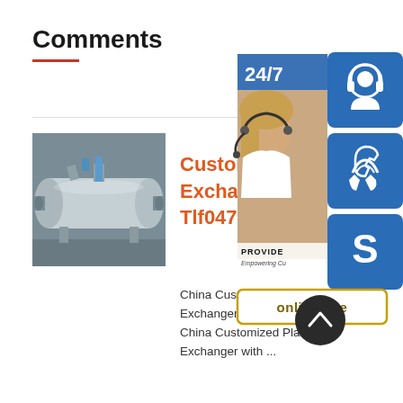Comments
[Figure (photo): Industrial cylindrical pressure vessel / heat exchanger equipment, metallic, with pipes and connections, photographed in a workshop]
Customized Plate Exchanger With Tlf047
China Customized Plate Heat Exchanger with Liner Tlf047 China Customized Plate Heat Exchanger with ...
Reply
[Figure (infographic): 24/7 customer support banner with woman wearing headset, PROVIDE / Empowering Customers text, and blue icon buttons for support, phone, and Skype. Online live button at bottom.]